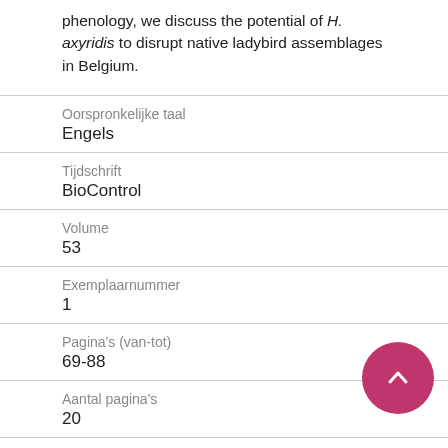phenology, we discuss the potential of H. axyridis to disrupt native ladybird assemblages in Belgium.
| Label | Value |
| --- | --- |
| Oorspronkelijke taal | Engels |
| Tijdschrift | BioControl |
| Volume | 53 |
| Exemplaarnummer | 1 |
| Pagina's (van-tot) | 69-88 |
| Aantal pagina's | 20 |
| Publicatiestatus |  |